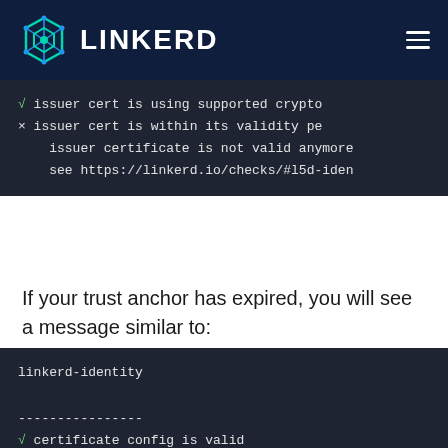LINKERD
[Figure (screenshot): Terminal/code block showing linkerd check output with check marks and error: issuer cert is using supported crypto, issuer cert is within its validity period failed, issuer certificate is not valid anymore, see https://linkerd.io/checks/#l5d-iden]
If your trust anchor has expired, you will see a message similar to:
[Figure (screenshot): Terminal/code block showing: linkerd-identity section with dashes, certificate config is valid, trust roots are using supported crypto, trust roots are within their validity]